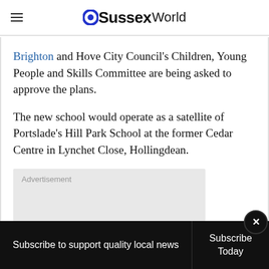OSussexWorld
Brighton and Hove City Council's Children, Young People and Skills Committee are being asked to approve the plans.
The new school would operate as a satellite of Portslade's Hill Park School at the former Cedar Centre in Lynchet Close, Hollingdean.
[Figure (other): Advertisement placeholder box]
Subscribe to support quality local news | Subscribe Today